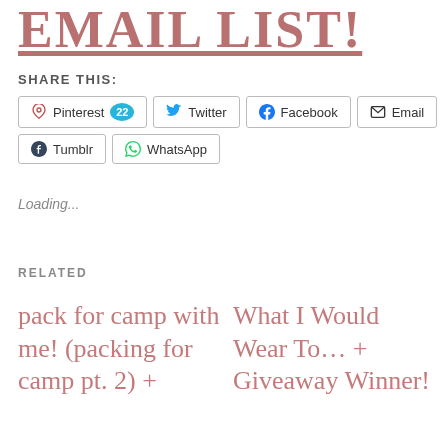EMAIL LIST!
SHARE THIS:
Pinterest 22  Twitter  Facebook  Email  Tumblr  WhatsApp
Loading...
RELATED
pack for camp with me! (packing for camp pt. 2) +
What I Would Wear To… + Giveaway Winner!